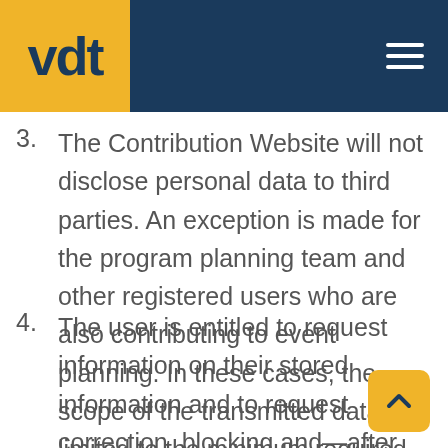vdt
3. The Contribution Website will not disclose personal data to third parties. An exception is made for the program planning team and other registered users who are also contributing to event planning. In these cases, the scope of the transmitted data is limited to the minimum required.
4. The user is entitled to request information on their stored information and to request correction, blocking and—after the event has